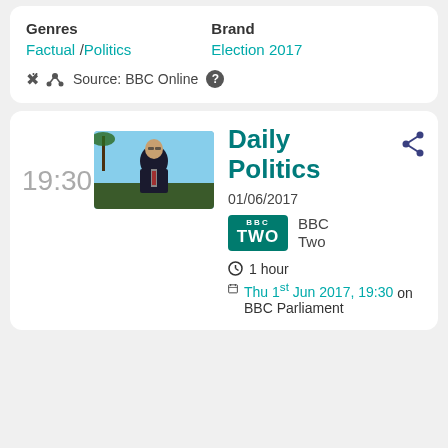Genres: Factual / Politics | Brand: Election 2017
Source: BBC Online
19:30
[Figure (photo): Thumbnail photo of a man in a dark suit with glasses, seated, BBC Daily Politics programme screenshot]
Daily Politics
01/06/2017
BBC Two
1 hour
Thu 1st Jun 2017, 19:30 on BBC Parliament